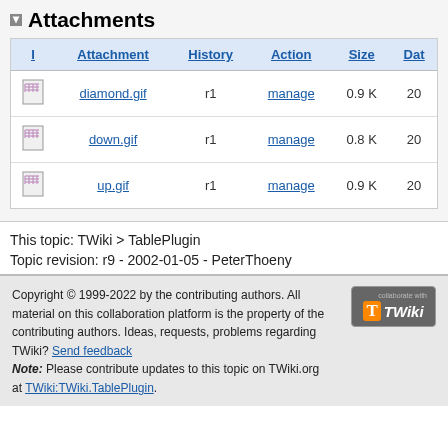Attachments
| I | Attachment | History | Action | Size | Dat |
| --- | --- | --- | --- | --- | --- |
| [icon] | diamond.gif | r1 | manage | 0.9 K | 20 |
| [icon] | down.gif | r1 | manage | 0.8 K | 20 |
| [icon] | up.gif | r1 | manage | 0.9 K | 20 |
This topic: TWiki > TablePlugin
Topic revision: r9 - 2002-01-05 - PeterThoeny
Copyright © 1999-2022 by the contributing authors. All material on this collaboration platform is the property of the contributing authors. Ideas, requests, problems regarding TWiki? Send feedback Note: Please contribute updates to this topic on TWiki.org at TWiki:TWiki.TablePlugin.